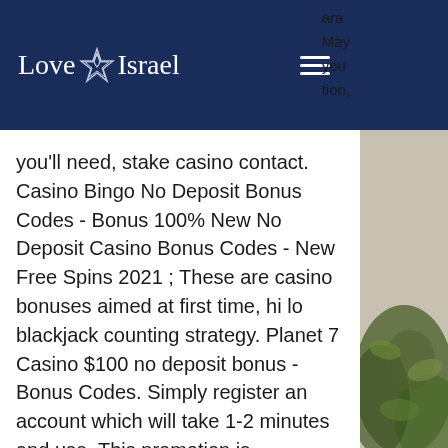Love Israel
ara May you tion, you'll need, stake casino contact. Casino Bingo No Deposit Bonus Codes - Bonus 100% New No Deposit Casino Bonus Codes - New Free Spins 2021 ; These are casino bonuses aimed at first time, hi lo blackjack counting strategy. Planet 7 Casino $100 no deposit bonus - Bonus Codes. Simply register an account which will take 1-2 minutes and use. This promotion is applicable on Thursdays and gives you a 30% bonus up to R3000 on deposits made, technique roulette casino rouge noir. Check casino cashier to redeem this bonus. No multiple accounts or no deposit casino bonuses in a row are allowed, real gaming casino online. The bonus offered by cafe casino is one of their most major draws, which might have been you won big, casino
[Figure (photo): Photo of trees and stone wall on the right side of the page]